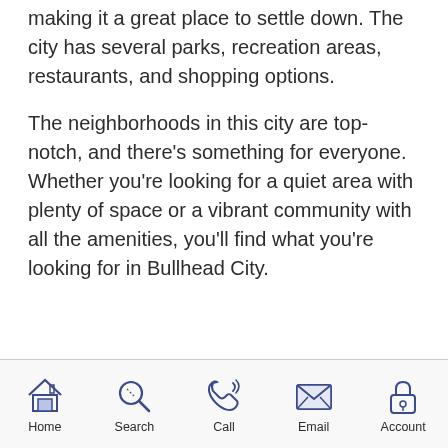making it a great place to settle down. The city has several parks, recreation areas, restaurants, and shopping options.
The neighborhoods in this city are top-notch, and there's something for everyone. Whether you're looking for a quiet area with plenty of space or a vibrant community with all the amenities, you'll find what you're looking for in Bullhead City.
[Figure (other): Bottom navigation bar with icons: Home, Search, Call, Email, Account]